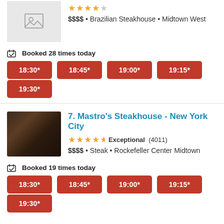[Figure (photo): Placeholder image for restaurant (gray background with image icon)]
$$$$ • Brazilian Steakhouse • Midtown West
Booked 28 times today
18:30*
18:45*
19:00*
19:15*
19:30*
7. Mastro's Steakhouse - New York City
Exceptional (4011)
$$$$ • Steak • Rockefeller Center Midtown
Booked 19 times today
18:30*
18:45*
19:00*
19:15*
19:30*